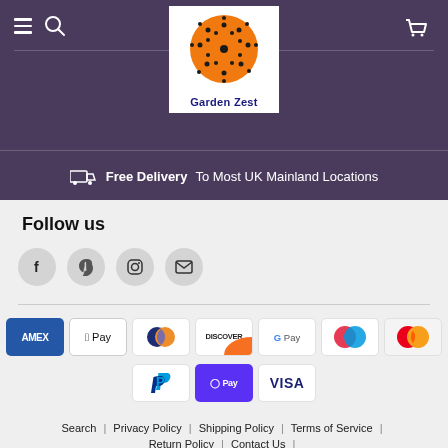[Figure (logo): Garden Zest logo: orange circle with dark dot pattern, text 'Garden Zest' below in dark blue, on white background]
Free Delivery  To Most UK Mainland Locations
Follow us
[Figure (infographic): Social media icon circles: Facebook (f), Pinterest (P), Instagram (camera), Email (envelope)]
[Figure (infographic): Payment method badges: AMEX, Apple Pay, Diners Club, Discover, Google Pay, Maestro, Mastercard, PayPal, Shop Pay, Visa]
Search | Privacy Policy | Shipping Policy | Terms of Service | Return Policy | Contact Us |